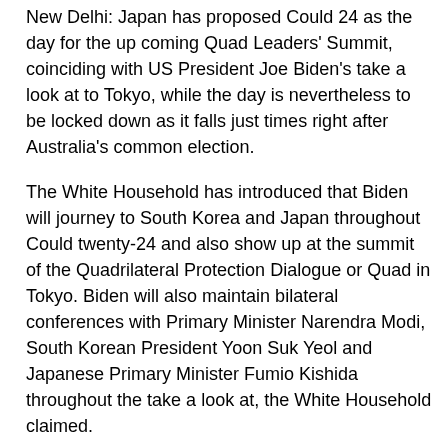New Delhi: Japan has proposed Could 24 as the day for the up coming Quad Leaders' Summit, coinciding with US President Joe Biden's take a look at to Tokyo, while the day is nevertheless to be locked down as it falls just times right after Australia's common election.
The White Household has introduced that Biden will journey to South Korea and Japan throughout Could twenty-24 and also show up at the summit of the Quadrilateral Protection Dialogue or Quad in Tokyo. Biden will also maintain bilateral conferences with Primary Minister Narendra Modi, South Korean President Yoon Suk Yeol and Japanese Primary Minister Fumio Kishida throughout the take a look at, the White Household claimed.
Persons acquainted with the issue claimed the Japanese aspect experienced to begin with proposed that the Quad Summit really should be held in April, ahead of proposing Could 24. When the US has agreed to the proposal, the Australian aspect has pointed out that the day is just times right after the country's common election on